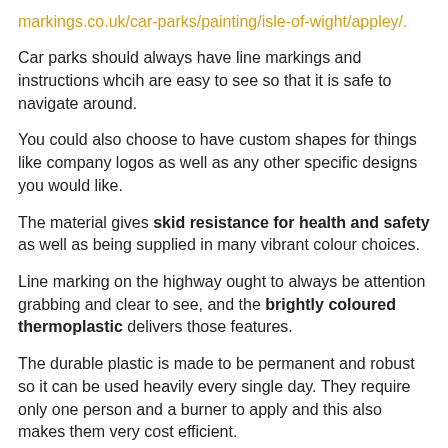markings.co.uk/car-parks/painting/isle-of-wight/appley/.
Car parks should always have line markings and instructions whcih are easy to see so that it is safe to navigate around.
You could also choose to have custom shapes for things like company logos as well as any other specific designs you would like.
The material gives skid resistance for health and safety as well as being supplied in many vibrant colour choices.
Line marking on the highway ought to always be attention grabbing and clear to see, and the brightly coloured thermoplastic delivers those features.
The durable plastic is made to be permanent and robust so it can be used heavily every single day. They require only one person and a burner to apply and this also makes them very cost efficient.
We can offer you clean and crisp street line marking which are put down in minutes and should not make loads of interference. We